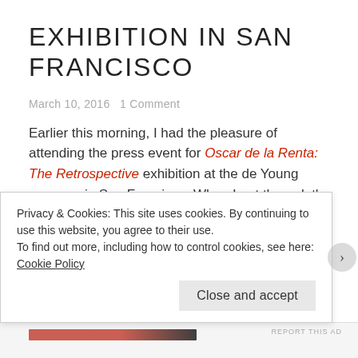EXHIBITION IN SAN FRANCISCO
March 10, 2016   1 Comment
Earlier this morning, I had the pleasure of attending the press event for Oscar de la Renta: The Retrospective exhibition at the de Young museum in San Francisco. When I got there, let’s just say I channeled my inner Carrie Bradshaw when she was rummaging through her closet in the first Sex and the City movie (or in the wedding dress scene of the same movie) and appreciated
Privacy & Cookies: This site uses cookies. By continuing to use this website, you agree to their use.
To find out more, including how to control cookies, see here: Cookie Policy
Close and accept